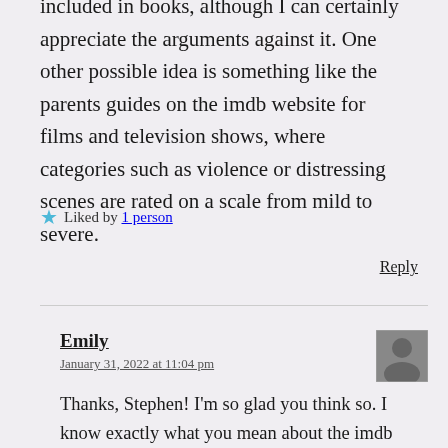included in books, although I can certainly appreciate the arguments against it. One other possible idea is something like the parents guides on the imdb website for films and television shows, where categories such as violence or distressing scenes are rated on a scale from mild to severe.
★ Liked by 1 person
Reply
Emily
January 31, 2022 at 11:04 pm
Thanks, Stephen! I'm so glad you think so. I know exactly what you mean about the imdb warnings—that's another really good idea. Thanks for reading! 😊